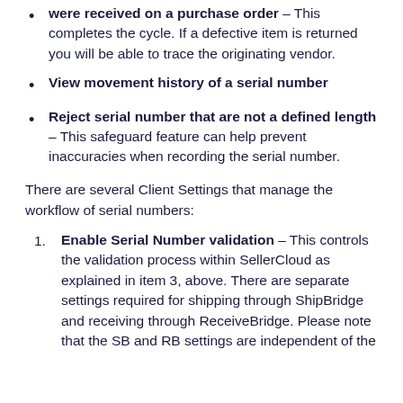were received on a purchase order – This completes the cycle. If a defective item is returned you will be able to trace the originating vendor.
View movement history of a serial number
Reject serial number that are not a defined length – This safeguard feature can help prevent inaccuracies when recording the serial number.
There are several Client Settings that manage the workflow of serial numbers:
Enable Serial Number validation – This controls the validation process within SellerCloud as explained in item 3, above. There are separate settings required for shipping through ShipBridge and receiving through ReceiveBridge. Please note that the SB and RB settings are independent of the...